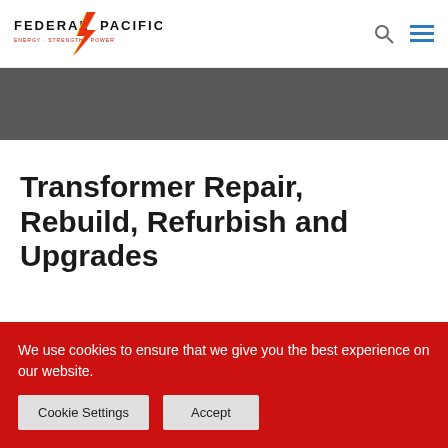[Figure (logo): Federal Pacific logo with lightning bolt between FEDERAL and PACIFIC text, red and yellow bolt on black text]
Transformer Repair, Rebuild, Refurbish and Upgrades
We use cookies to ensure that we give you the best experience on our website.